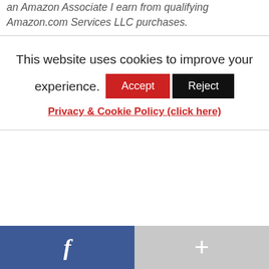an Amazon Associate I earn from qualifying Amazon.com Services LLC purchases.
This website uses cookies to improve your experience.
Accept  Reject
Privacy & Cookie Policy (click here)
[Figure (other): Footer bar with Facebook icon (blue background, 'f' symbol) on the left and a plus/add icon (grey background) on the right]